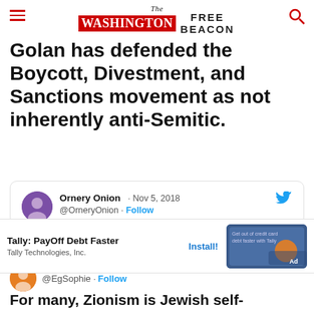The Washington Free Beacon
Golan has defended the Boycott, Divestment, and Sanctions movement as not inherently anti-Semitic.
[Figure (screenshot): Tweet from @OrneryOnion dated Nov 5, 2018, replying to @OrneryOnion and @EgSophie. Text: 'I respect Linda's work in many ways. But when it comes to Israel and Jews, I tend to question. She decries the death of Jews in Pittsburgh from a White Man, but is silent on the deaths of Israeli women. She has many fine stances. But she also has a few blind spots.']
[Figure (screenshot): Mobile advertisement for Tally: PayOff Debt Faster app by Tally Technologies, Inc. with Install button and ad image.]
@EgSophie · Follow
For many, Zionism is Jewish self-